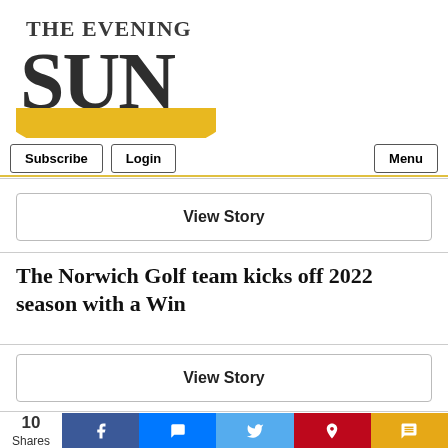[Figure (logo): The Evening Sun newspaper logo — 'THE EVENING' in serif caps above large bold 'SUN' text, with a yellow semicircle sun graphic below the letters]
Subscribe | Login | Menu
View Story
The Norwich Golf team kicks off 2022 season with a Win
View Story
10 Shares